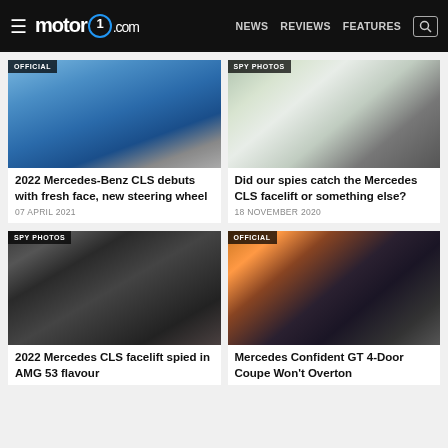motor1.com  NEWS  REVIEWS  FEATURES
[Figure (photo): Blue Mercedes-Benz CLS sedan with OFFICIAL badge]
2022 Mercedes-Benz CLS debuts with fresh face, new steering wheel
07 APRIL 2021
[Figure (photo): White camouflaged Mercedes CLS on track with SPY PHOTOS badge]
Did our spies catch the Mercedes CLS facelift or something else?
18 NOVEMBER 2020
[Figure (photo): Camouflaged black Mercedes CLS facelift with SPY PHOTOS badge]
2022 Mercedes CLS facelift spied in AMG 53 flavour
[Figure (photo): Dark Mercedes AMG GT 4-Door Coupe on track with OFFICIAL badge]
Mercedes Confident GT 4-Door Coupe Won't Overton